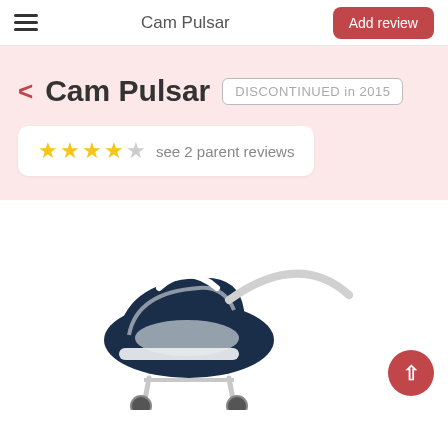Cam Pulsar
< Cam Pulsar DISCONTINUED in 2015
★★★★☆ see 2 parent reviews
[Figure (photo): Photo of a Cam Pulsar baby stroller/pram in navy blue and white with silver frame, showing the carrycot and handle, viewed from the side.]